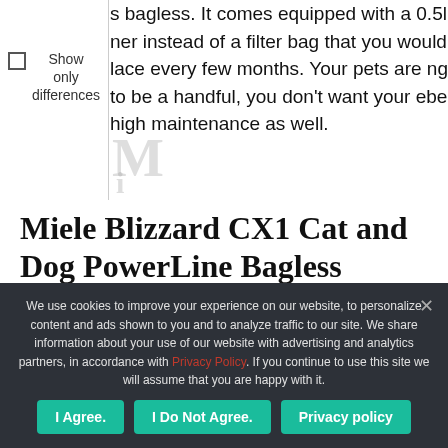s bagless. It comes equipped with a 0.5l ner instead of a filter bag that you would lace every few months. Your pets are ng to be a handful, you don't want your ebe high maintenance as well.
Miele Blizzard CX1 Cat and Dog PowerLine Bagless Vacuum Cleaner
We use cookies to improve your experience on our website, to personalize content and ads shown to you and to analyze traffic to our site. We share information about your use of our website with advertising and analytics partners, in accordance with Privacy Policy. If you continue to use this site we will assume that you are happy with it.